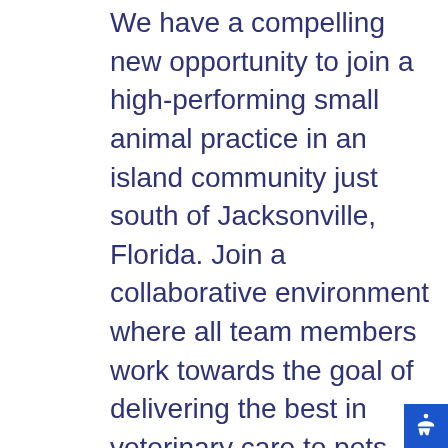We have a compelling new opportunity to join a high-performing small animal practice in an island community just south of Jacksonville, Florida. Join a collaborative environment where all team members work towards the goal of delivering the best in veterinary care to pets and their families. This is a Fear-Free Certified and Cat-Friendly practice. The state-of-the-art facility is well equipped with an in-house laboratory, ultrasound, and anesthetic monitoring equipment. This is a wonderful chance to expand your skillset and administer care in routine wellness, dentistry, soft tissue surgeries, radiography, and more.
This hospital has a reputable culture with initiative-taking individuals. They are known for